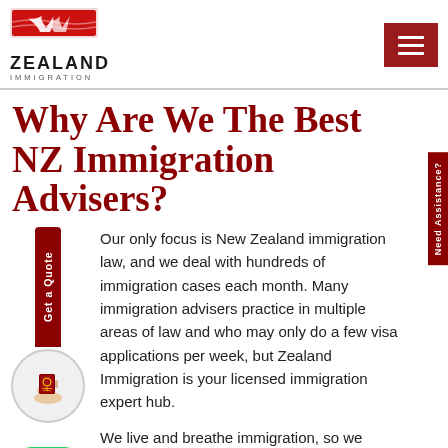[Figure (logo): Zealand Immigration logo with NZ fern/flag graphic, text ZEALAND IMMIGRATION]
Why Are We The Best NZ Immigration Advisers?
Our only focus is New Zealand immigration law, and we deal with hundreds of immigration cases each month. Many immigration advisers practice in multiple areas of law and who may only do a few visa applications per week, but Zealand Immigration is your licensed immigration expert hub.
We live and breathe immigration, so we understand the intricacies of the field and how